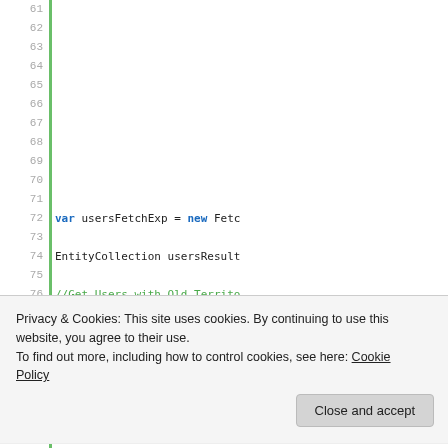[Figure (screenshot): Code editor screenshot showing lines 61-80 of source code. Lines 72-79 contain visible code: line 72 'var usersFetchExp = new Fetc', line 74 'EntityCollection usersResult', line 76 '//Get Users with Old Territo', line 77 'usersResults = service.Retri', line 79 'string territoryFetchXML = s'. A green vertical bar runs along the left side as a gutter indicator.]
Privacy & Cookies: This site uses cookies. By continuing to use this website, you agree to their use.
To find out more, including how to control cookies, see here: Cookie Policy
[Figure (screenshot): Partial bottom code strip showing line 90 and beginning of 'EntityCollection territoryRe']